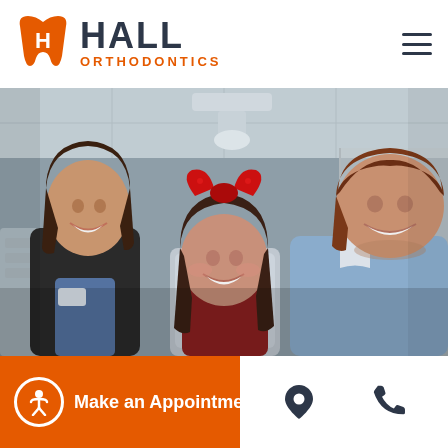[Figure (logo): Hall Orthodontics logo with orange tooth/H icon and dark navy HALL ORTHODONTICS text]
[Figure (photo): Photo of three people in a dental office: a smiling woman on the left, a young girl wearing a large red bow in the center seated in dental chair, and a man (orthodontist) on the right in a light blue shirt, all smiling at the camera]
Make an Appointment